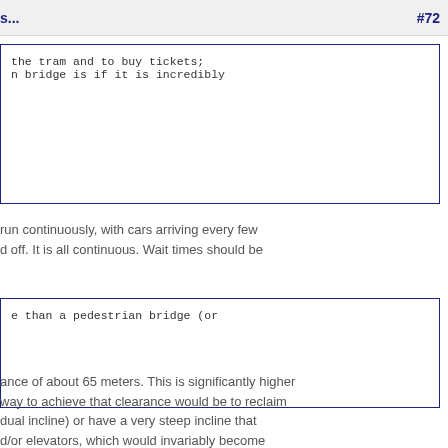s... #72
the tram and to buy tickets;
n bridge is if it is incredibly
run continuously, with cars arriving every few
d off. It is all continuous. Wait times should be
e than a pedestrian bridge (or
ance of about 65 meters. This is significantly higher
way to achieve that clearance would be to reclaim
dual incline) or have a very steep incline that
d/or elevators, which would invariably become